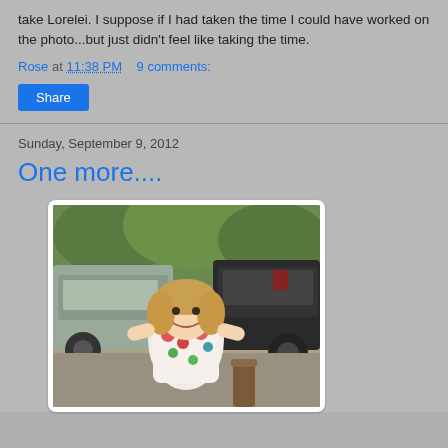take Lorelei. I suppose if I had taken the time I could have worked on the photo...but just didn't feel like taking the time.
Rose at 11:38 PM   9 comments:
Share
Sunday, September 9, 2012
One more....
[Figure (photo): A young girl with curly blonde hair wearing a floral top, smiling at the camera. Cars and trees visible in background.]